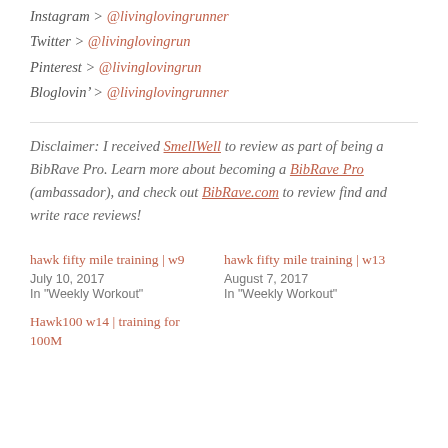Instagram > @livinglovingrunner
Twitter > @livinglovingrun
Pinterest > @livinglovingrun
Bloglovin' > @livinglovingrunner
Disclaimer: I received SmellWell to review as part of being a BibRave Pro. Learn more about becoming a BibRave Pro (ambassador), and check out BibRave.com to review find and write race reviews!
hawk fifty mile training | w9
July 10, 2017
In "Weekly Workout"
hawk fifty mile training | w13
August 7, 2017
In "Weekly Workout"
Hawk100 w14 | training for 100M